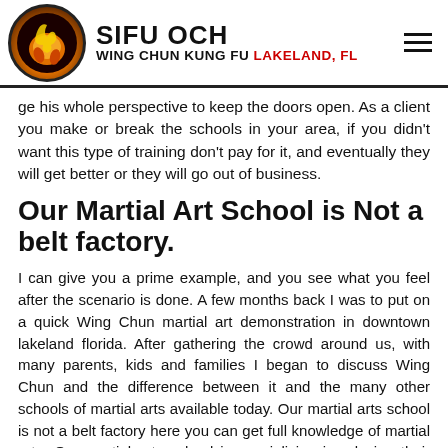SIFU OCH WING CHUN KUNG FU Lakeland, FL
ge his whole perspective to keep the doors open. As a client you make or break the schools in your area, if you didn't want this type of training don't pay for it, and eventually they will get better or they will go out of business.
Our Martial Art School is Not a belt factory.
I can give you a prime example, and you see what you feel after the scenario is done. A few months back I was to put on a quick Wing Chun martial art demonstration in downtown lakeland florida. After gathering the crowd around us, with many parents, kids and families I began to discuss Wing Chun and the difference between it and the many other schools of martial arts available today. Our martial arts school is not a belt factory here you can get full knowledge of martial arts. Our martial arts school is specializing in relaying their skills and to learn manner. Everyone I was talking about, there were so many people that most asked me politely to speak up because they couldn't hear in the back.
[Figure (other): Yellow banner button with black text: CLICK TO GET FREE 2 WEEK TRIAL]